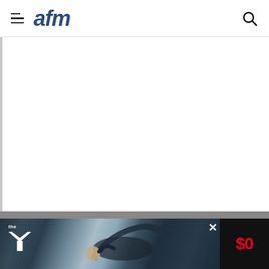afm
[Figure (screenshot): White content area with left border, representing a web article page body]
[Figure (photo): Advertisement banner for the YMCA featuring a woman doing ab exercises with '$0' promotional price displayed on the right side]